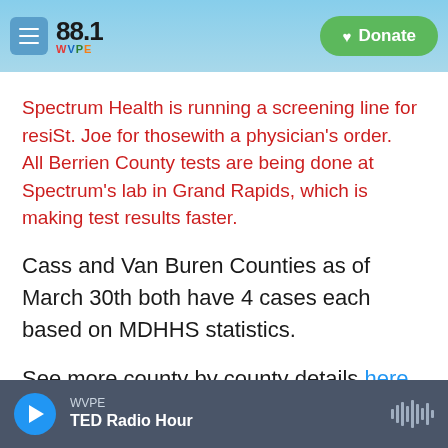88.1 WVPE — Donate
Spectrum Health is running a screening line for resiSt. Joe for thosewith a physician's order. All Berrien County tests are being done at Spectrum's lab in Grand Rapids, which is making test results faster.
Cass and Van Buren Counties as of March 30th both have 4 cases each based on MDHHS statistics.
See more county by county details here.
WVPE — TED Radio Hour